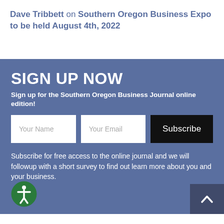Dave Tribbett on Southern Oregon Business Expo to be held August 4th, 2022
SIGN UP NOW
Sign up for the Southern Oregon Business Journal online edition!
Subscribe for free access to the online journal and we will followup with a short survey to find out learn more about you and your business.